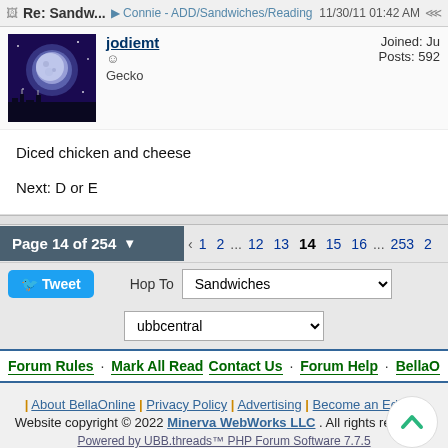Re: Sandw... · Connie - ADD/Sandwiches/Reading · 11/30/11 01:42 AM
jodiemt ☺
Gecko
Joined: Ju
Posts: 592
Diced chicken and cheese

Next: D or E
Page 14 of 254 ▼  ‹  1  2  ...  12  13  14  15  16  ...  253  2
Tweet  Hop To  Sandwiches
ubbcentral
Forum Rules · Mark All Read        Contact Us · Forum Help · BellaO
| About BellaOnline | Privacy Policy | Advertising | Become an Editor |
Website copyright © 2022 Minerva WebWorks LLC . All rights reserved.
Powered by UBB.threads™ PHP Forum Software 7.7.5